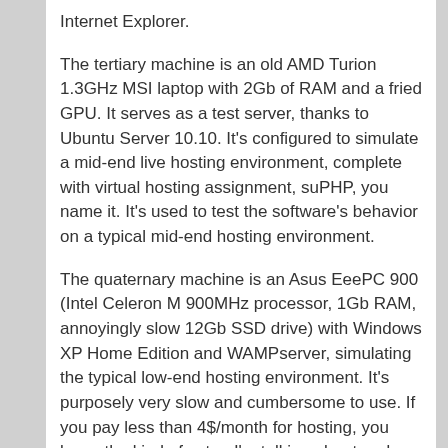Internet Explorer.
The tertiary machine is an old AMD Turion 1.3GHz MSI laptop with 2Gb of RAM and a fried GPU. It serves as a test server, thanks to Ubuntu Server 10.10. It's configured to simulate a mid-end live hosting environment, complete with virtual hosting assignment, suPHP, you name it. It's used to test the software's behavior on a typical mid-end hosting environment.
The quaternary machine is an Asus EeePC 900 (Intel Celeron M 900MHz processor, 1Gb RAM, annoyingly slow 12Gb SSD drive) with Windows XP Home Edition and WAMPserver, simulating the typical low-end hosting environment. It's purposely very slow and cumbersome to use. If you pay less than 4$/month for hosting, you know the kind of setup I'm talking about and why it's paramount to test software on it.